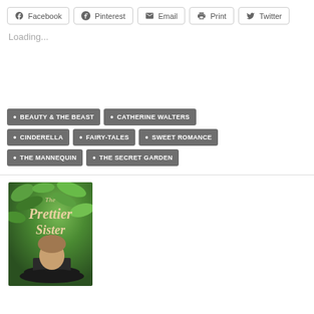[Figure (other): Social sharing buttons: Facebook, Pinterest, Email, Print, Twitter]
Loading...
BEAUTY & THE BEAST
CATHERINE WALTERS
CINDERELLA
FAIRY-TALES
SWEET ROMANCE
THE MANNEQUIN
THE SECRET GARDEN
[Figure (photo): Book cover of 'The Prettier Sister' showing a woman with a hat against a green foliage background]